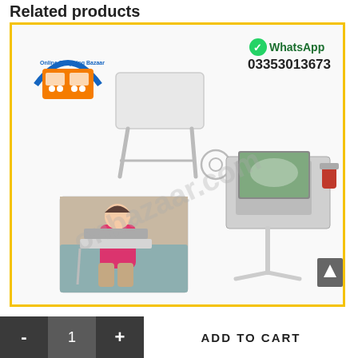Related products
[Figure (photo): Product card for a foldable laptop/multipurpose table stand with cup holder. Shows the table stand from multiple angles: folded/unfolded diagram, a woman using it on a sofa with a laptop, and the assembled table with a laptop and cup holder. Online Shopping Bazaar logo top-left. WhatsApp contact 03353013673 top-right. Watermark 'onbazaar.com' across center.]
WhatsApp
03353013673
- 1 + ADD TO CART